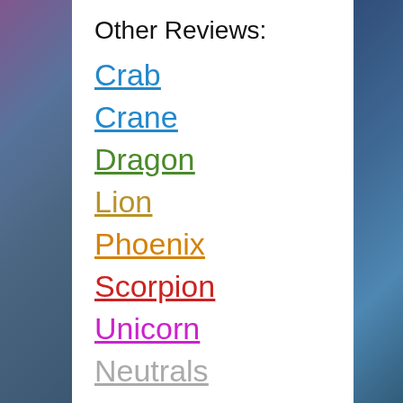Other Reviews:
Crab
Crane
Dragon
Lion
Phoenix
Scorpion
Unicorn
Neutrals